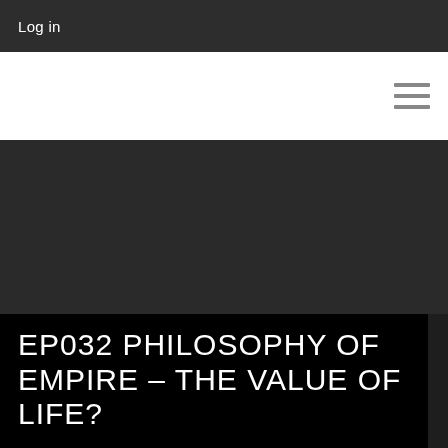Log in
[Figure (infographic): Hamburger menu icon with three horizontal grey lines on white navigation bar]
EP032 PHILOSOPHY OF EMPIRE – THE VALUE OF LIFE?